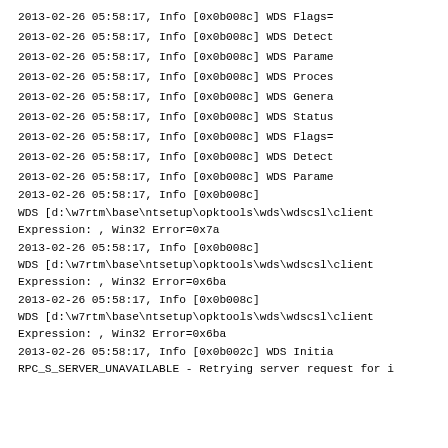2013-02-26 05:58:17, Info        [0x0b008c] WDS     Flags=
2013-02-26 05:58:17, Info        [0x0b008c] WDS     Detect
2013-02-26 05:58:17, Info        [0x0b008c] WDS     Parame
2013-02-26 05:58:17, Info        [0x0b008c] WDS     Proces
2013-02-26 05:58:17, Info        [0x0b008c] WDS     Genera
2013-02-26 05:58:17, Info        [0x0b008c] WDS     Status
2013-02-26 05:58:17, Info        [0x0b008c] WDS     Flags=
2013-02-26 05:58:17, Info        [0x0b008c] WDS     Detect
2013-02-26 05:58:17, Info        [0x0b008c] WDS     Parame
2013-02-26 05:58:17, Info        [0x0b008c]
WDS     [d:\w7rtm\base\ntsetup\opktools\wds\wdscsl\client
Expression: , Win32 Error=0x7a
2013-02-26 05:58:17, Info        [0x0b008c]
WDS     [d:\w7rtm\base\ntsetup\opktools\wds\wdscsl\client
Expression: , Win32 Error=0x6ba
2013-02-26 05:58:17, Info        [0x0b008c]
WDS     [d:\w7rtm\base\ntsetup\opktools\wds\wdscsl\client
Expression: , Win32 Error=0x6ba
2013-02-26 05:58:17, Info        [0x0b002c] WDS     Initia
RPC_S_SERVER_UNAVAILABLE - Retrying server request for i